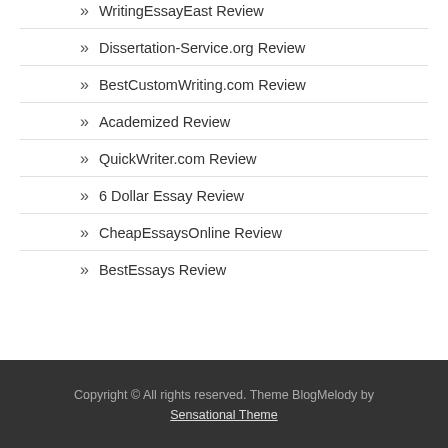WritingEssayEast Review
Dissertation-Service.org Review
BestCustomWriting.com Review
Academized Review
QuickWriter.com Review
6 Dollar Essay Review
CheapEssaysOnline Review
BestEssays Review
Copyright © All rights reserved. Theme BlogMelody by Sensational Theme